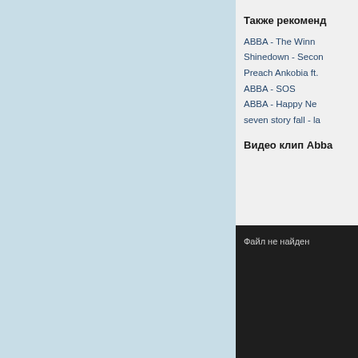[Figure (other): Light blue/gray background panel on the left side of the page]
Также рекоменд
ABBA - The Winn
Shinedown - Secon
Preach Ankobia ft.
ABBA - SOS
ABBA - Happy Ne
seven story fall - la
Видео клип Abba
[Figure (other): Dark video player area with text 'Файл не найден' (File not found)]